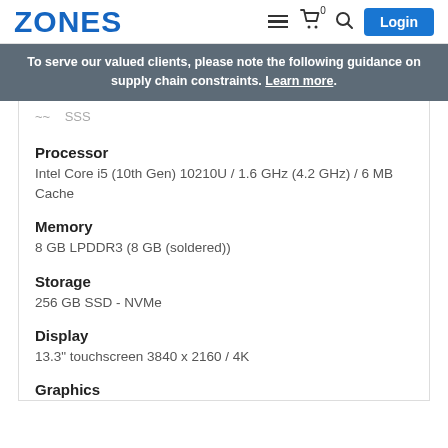ZONES | Login
To serve our valued clients, please note the following guidance on supply chain constraints. Learn more.
(truncated top label)
Processor
Intel Core i5 (10th Gen) 10210U / 1.6 GHz (4.2 GHz) / 6 MB Cache
Memory
8 GB LPDDR3 (8 GB (soldered))
Storage
256 GB SSD - NVMe
Display
13.3" touchscreen 3840 x 2160 / 4K
Graphics